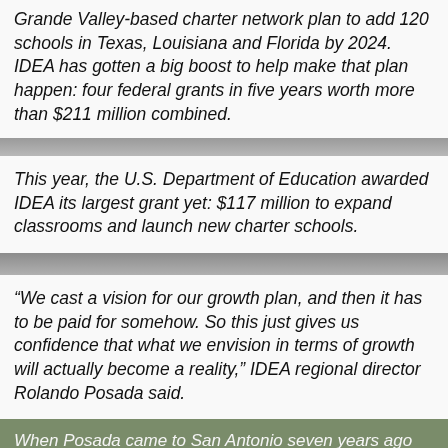Grande Valley-based charter network plan to add 120 schools in Texas, Louisiana and Florida by 2024. IDEA has gotten a big boost to help make that plan happen: four federal grants in five years worth more than $211 million combined.
This year, the U.S. Department of Education awarded IDEA its largest grant yet: $117 million to expand classrooms and launch new charter schools.
“We cast a vision for our growth plan, and then it has to be paid for somehow. So this just gives us confidence that what we envision in terms of growth will actually become a reality,” IDEA regional director Rolando Posada said.
When Posada came to San Antonio seven years ago